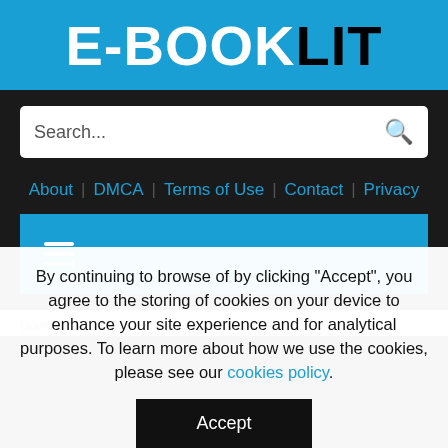E-BOOKLIT
Search...
About | DMCA | Terms of Use | Contact | Privacy
[Figure (other): Blue hamburger menu bar with three horizontal white lines icon]
Download e-books » Mystery » Daemonologie
By continuing to browse of by clicking "Accept", you agree to the storing of cookies on your device to enhance your site experience and for analytical purposes. To learn more about how we use the cookies, please see our cookies policy.
Accept